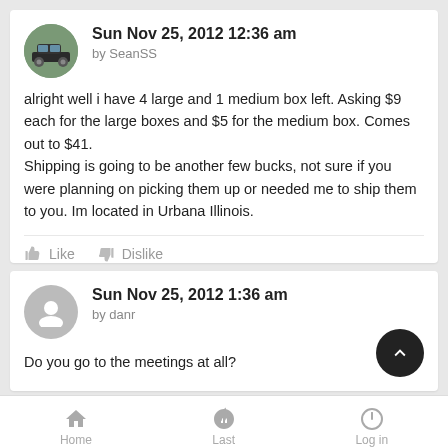Sun Nov 25, 2012 12:36 am
by SeanSS
alright well i have 4 large and 1 medium box left. Asking $9 each for the large boxes and $5 for the medium box. Comes out to $41.
Shipping is going to be another few bucks, not sure if you were planning on picking them up or needed me to ship them to you. Im located in Urbana Illinois.
Like   Dislike
Sun Nov 25, 2012 1:36 am
by danr
Do you go to the meetings at all?
Home   Last   Log in